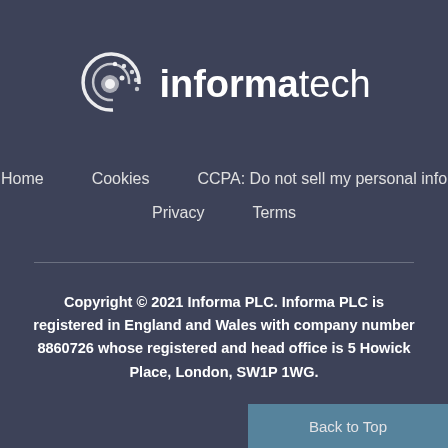[Figure (logo): Informa Tech logo with circular icon and wordmark]
Home
Cookies
CCPA: Do not sell my personal info
Privacy
Terms
Copyright © 2021 Informa PLC. Informa PLC is registered in England and Wales with company number 8860726 whose registered and head office is 5 Howick Place, London, SW1P 1WG.
Back to Top